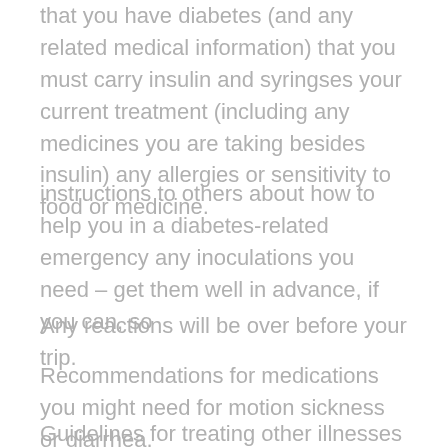that you have diabetes (and any related medical information) that you must carry insulin and syringses your current treatment (including any medicines you are taking besides insulin) any allergies or sensitivity to food or medicine.
instructions to others about how to help you in a diabetes-related emergency any inoculations you need – get them well in advance, if you can, so
Any reactions will be over before your trip.
Recommendations for medications you might need for motion sickness or diarrhea.
Guidelines for treating other illnesses and for making adjustments in your treatment plan. For example, if